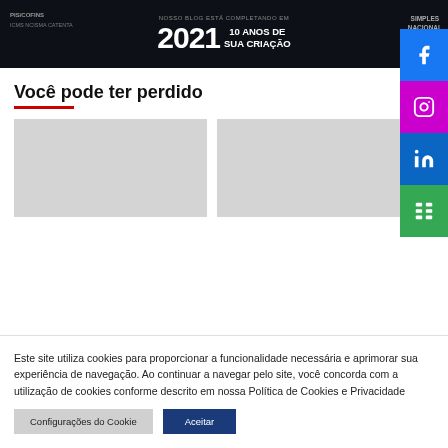[Figure (illustration): Dark banner with text 'NOSSO BLOG ESTÁ COMPLETANDO EM 2021 10 ANOS DE SUA CRIAÇÃO' and 'PIS/COFINS', 'SIMPLES NACIONAL' labels on dark background]
Você pode ter perdido
[Figure (photo): Gray placeholder thumbnail image 1]
[Figure (photo): Gray placeholder thumbnail image 2]
Este site utiliza cookies para proporcionar a funcionalidade necessária e aprimorar sua experiência de navegação. Ao continuar a navegar pelo site, você concorda com a utilização de cookies conforme descrito em nossa Política de Cookies e Privacidade
Configurações do Cookie | Aceitar